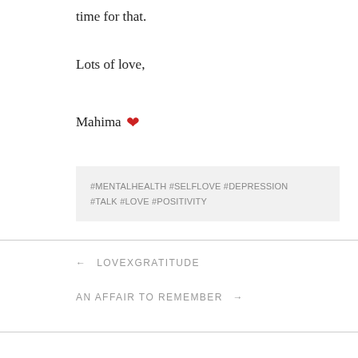time for that.
Lots of love,
Mahima ❤
#MENTALHEALTH #SELFLOVE #DEPRESSION #TALK #LOVE #POSITIVITY
← LOVEXGRATITUDE
AN AFFAIR TO REMEMBER →